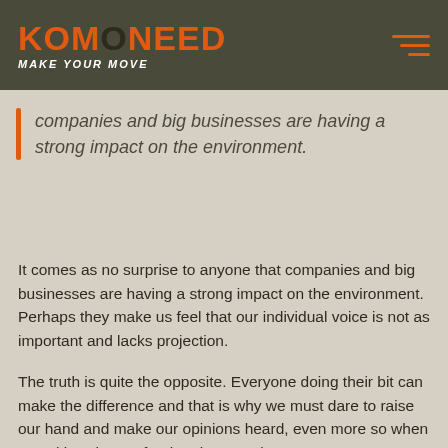KOMONEED — MAKE YOUR MOVE
companies and big businesses are having a strong impact on the environment.
It comes as no surprise to anyone that companies and big businesses are having a strong impact on the environment. Perhaps they make us feel that our individual voice is not as important and lacks projection.
The truth is quite the opposite. Everyone doing their bit can make the difference and that is why we must dare to raise our hand and make our opinions heard, even more so when a positive change for the planet and